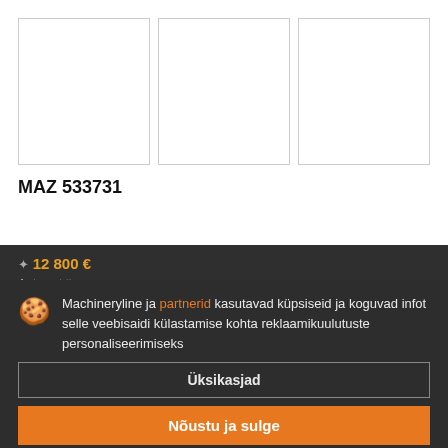[Figure (photo): Three blank/white image placeholders in a row, each with a light gray border, representing product photos for MAZ 533731]
MAZ 533731
12 800 €
Machineryline ja partnerid kasutavad küpsiseid ja koguvad infot selle veebisaidi külastamise kohta reklaamikuulutuste personaliseerimiseks
Üksikasjad
Nõustu ja sulge